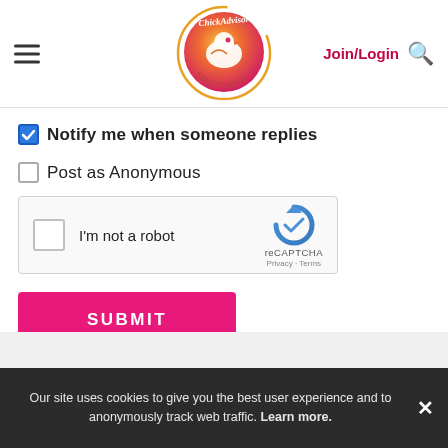[Figure (logo): ChickAdvisor logo - circular gradient orange/red bird logo with text 'Since 2006']
Notify me when someone replies
Post as Anonymous
[Figure (other): reCAPTCHA widget with checkbox and 'I'm not a robot' text]
SUBMIT
Our site uses cookies to give you the best user experience and to anonymously track web traffic. Learn more.